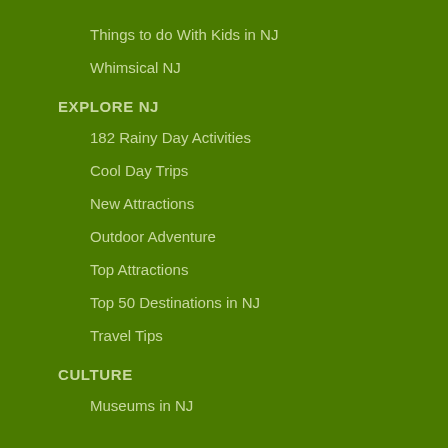Things to do With Kids in NJ
Whimsical NJ
EXPLORE NJ
182 Rainy Day Activities
Cool Day Trips
New Attractions
Outdoor Adventure
Top Attractions
Top 50 Destinations in NJ
Travel Tips
CULTURE
Museums in NJ